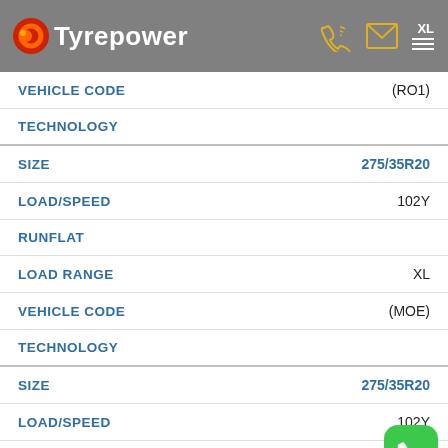Tyrepower
VEHICLE CODE: (RO1)
TECHNOLOGY
SIZE: 275/35R20
LOAD/SPEED: 102Y
RUNFLAT
LOAD RANGE: XL
VEHICLE CODE: (MOE)
TECHNOLOGY
SIZE: 275/35R20
LOAD/SPEED: 102Y
RUNFLAT